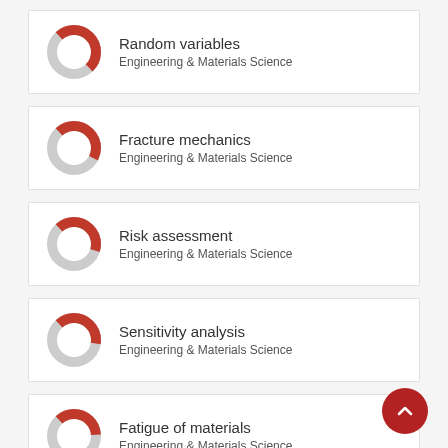Random variables
Engineering & Materials Science
Fracture mechanics
Engineering & Materials Science
Risk assessment
Engineering & Materials Science
Sensitivity analysis
Engineering & Materials Science
Fatigue of materials
Engineering & Materials Science
View full fingerprint  ›